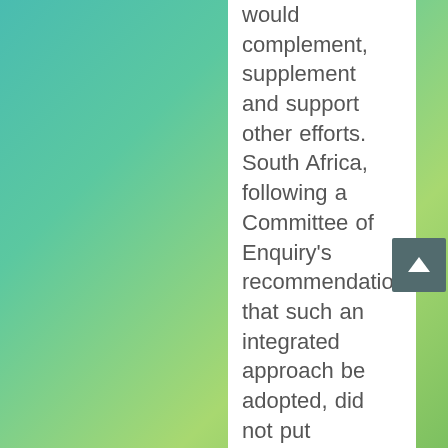would complement, supplement and support other efforts. South Africa, following a Committee of Enquiry's recommendation that such an integrated approach be adopted, did not put forward a proposal at CITES CoP 16 and is now moving toward greater integration of strategies. Ultimately, it may be that a legal trade will be an element in a successful